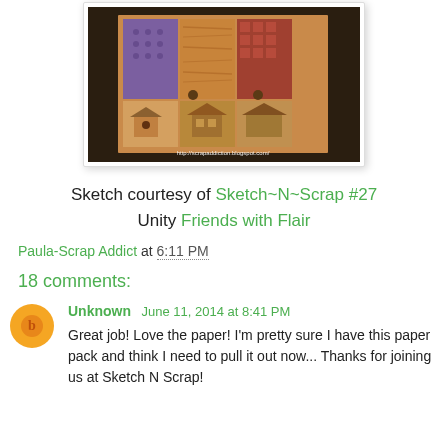[Figure (photo): A handmade scrapbook card standing upright, featuring patterned papers in purple, orange, tan, and brown tones with a cityscape/house design. URL watermark: http://scrapaddiction.blogspot.com/]
Sketch courtesy of Sketch~N~Scrap #27
Unity Friends with Flair
Paula-Scrap Addict at 6:11 PM
18 comments:
Unknown June 11, 2014 at 8:41 PM
Great job! Love the paper! I'm pretty sure I have this paper pack and think I need to pull it out now... Thanks for joining us at Sketch N Scrap!